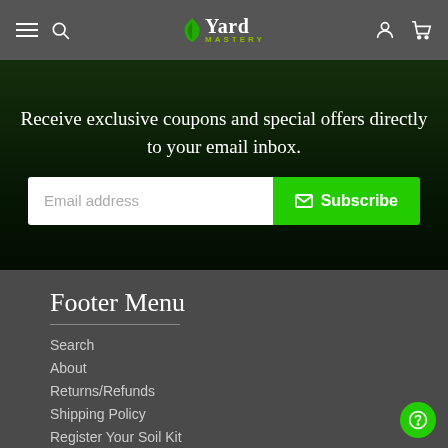Yard Mastery — navigation header with hamburger, search, logo, user and cart icons
Receive exclusive coupons and special offers directly to your email inbox.
Email address  Subscribe
Footer Menu
Search
About
Returns/Refunds
Shipping Policy
Register Your Soil Kit